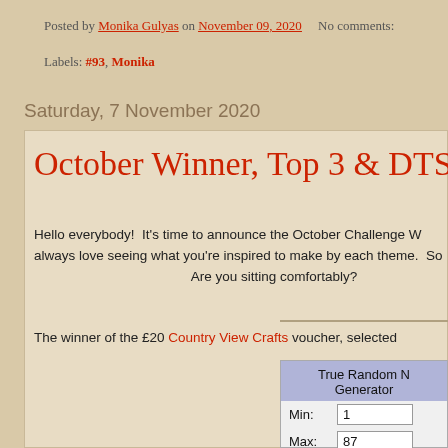Posted by Monika Gulyas on November 09, 2020   No comments:
Labels: #93, Monika
Saturday, 7 November 2020
October Winner, Top 3 & DTSM
Hello everybody!  It's time to announce the October Challenge W... always love seeing what you're inspired to make by each theme.  So...   Are you sitting comfortably?
The winner of the £20 Country View Crafts voucher, selected...
[Figure (screenshot): True Random Number Generator widget showing Min: 1, Max: 87, Generate button, and Result: label]